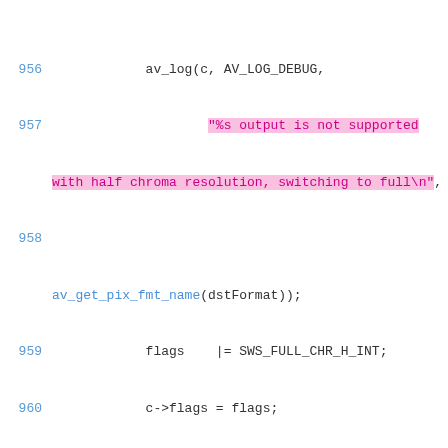[Figure (screenshot): Source code listing in C showing lines 956-976 with syntax highlighting. Line numbers in blue on left. String literals highlighted in pink/magenta. Function names in blue. Comments in gray italic. White background.]